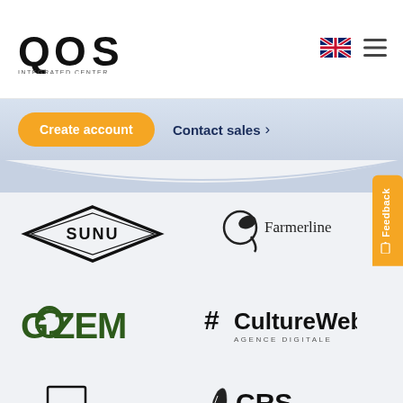[Figure (logo): QOS Integrated Center logo — large QOS letters with 'INTEGRATED CENTER' subtitle]
[Figure (logo): UK flag icon]
[Figure (other): Hamburger menu icon (three horizontal lines)]
Create account
Contact sales >
[Figure (logo): SUNU logo — diamond shape with SUNU text inside]
[Figure (logo): Farmerline logo — circular swirl and Farmerline text]
[Figure (logo): GOZEM logo — stylized green text]
[Figure (logo): #CultureWeb AGENCE DIGITALE logo]
[Figure (logo): Frikibet logo — IF stylized letters]
[Figure (logo): CRS Catholic Relief Services — faith action results logo]
Feedback